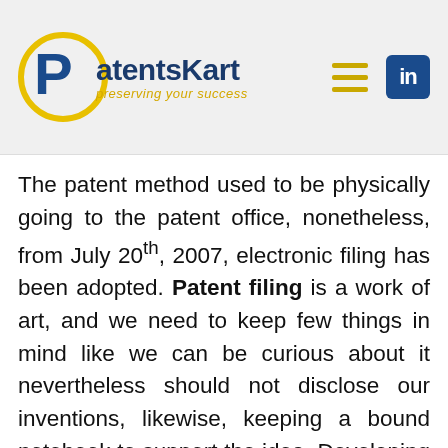[Figure (logo): PatentsKart logo with yellow circle containing letter P, text 'PatentsKart' in dark blue and 'preserving your success' in yellow]
The patent method used to be physically going to the patent office, nonetheless, from July 20th, 2007, electronic filing has been adopted. Patent filing is a work of art, and we need to keep few things in mind like we can be curious about it nevertheless should not disclose our inventions, likewise, keeping a bound notebook to support the idea. Developing the idea and produce a model. Similarly, writing the positive points about your product as compared to the product available in the market and writing down about the uniqueness